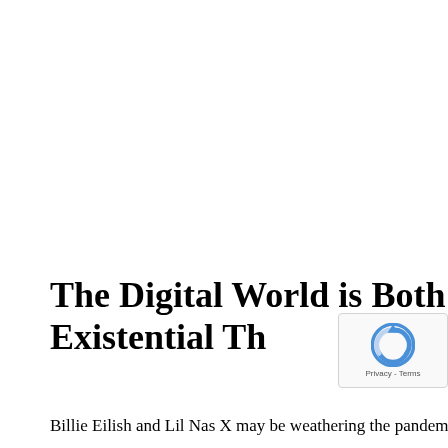The Digital World is Both the Opportunity and the Existential Th…
Billie Eilish and Lil Nas X may be weathering the pandemi… (although the big money comes from touring), but in the larger